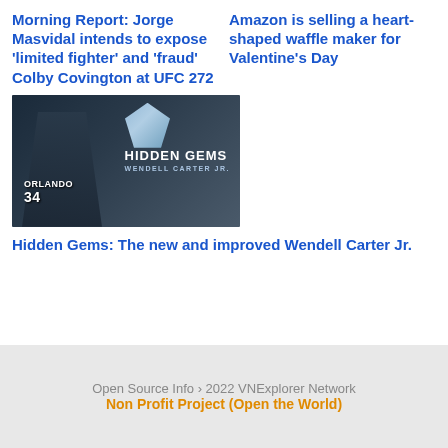Morning Report: Jorge Masvidal intends to expose ‘limited fighter’ and ‘fraud’ Colby Covington at UFC 272
Amazon is selling a heart-shaped waffle maker for Valentine’s Day
[Figure (photo): Hidden Gems promotional image featuring an Orlando Magic player (jersey #34) with the text HIDDEN GEMS WENDELL CARTER JR. and a diamond graphic]
Hidden Gems: The new and improved Wendell Carter Jr.
Open Source Info › 2022 VNExplorer Network
Non Profit Project (Open the World)